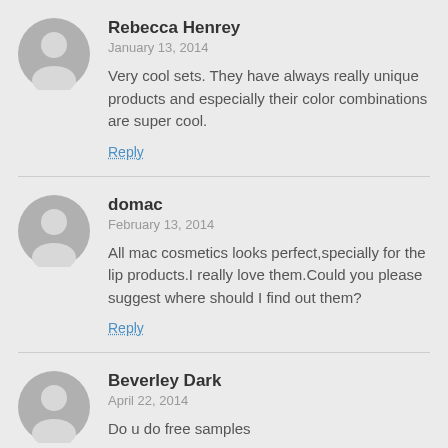Rebecca Henrey
January 13, 2014
Very cool sets. They have always really unique products and especially their color combinations are super cool.
Reply
domac
February 13, 2014
All mac cosmetics looks perfect,specially for the lip products.I really love them.Could you please suggest where should I find out them?
Reply
Beverley Dark
April 22, 2014
Do u do free samples
Reply